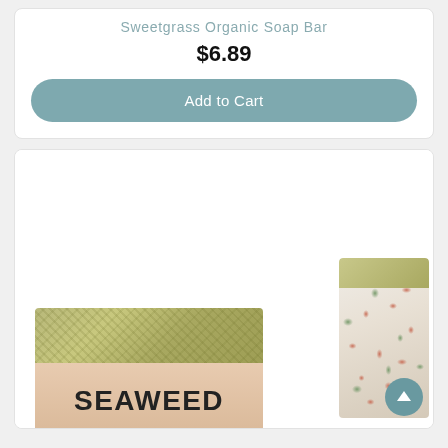Sweetgrass Organic Soap Bar
$6.89
Add to Cart
[Figure (photo): Photo of two organic soap bars — a large seaweed-topped bar with 'SEAWEED' label in dark text on a beige wrapper, and a smaller bar with floral/herb speckled appearance, partially visible. Both bars are artisan-style handmade soaps.]